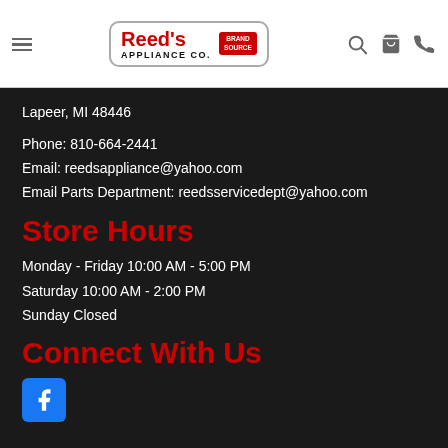Reed's Appliance Co. — Brand Source navigation header with menu, search, cart, and phone icons
Lapeer, MI 48446
Phone: 810-664-2441
Email: reedsappliance@yahoo.com
Email Parts Department: reedsservicedept@yahoo.com
Store Hours
Monday - Friday 10:00 AM - 5:00 PM
Saturday 10:00 AM - 2:00 PM
Sunday Closed
Connect With Us
[Figure (logo): Facebook logo icon (blue square with white f)]